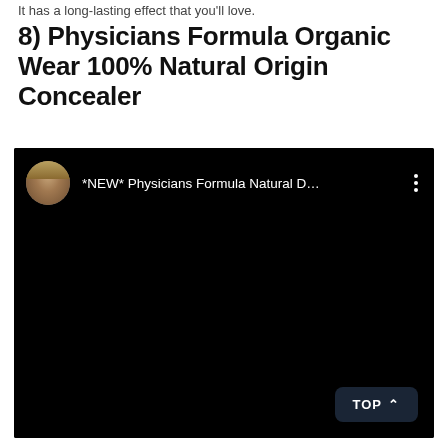It has a long-lasting effect that you'll love.
8) Physicians Formula Organic Wear 100% Natural Origin Concealer
[Figure (screenshot): Embedded video thumbnail showing a YouTube-style video player with black background. The video header shows a circular avatar of a woman with highlighted hair, followed by the truncated title '*NEW* Physicians Formula Natural D...' and a three-dot menu icon. The video body is entirely black. A 'TOP ^' button appears in the bottom right corner.]